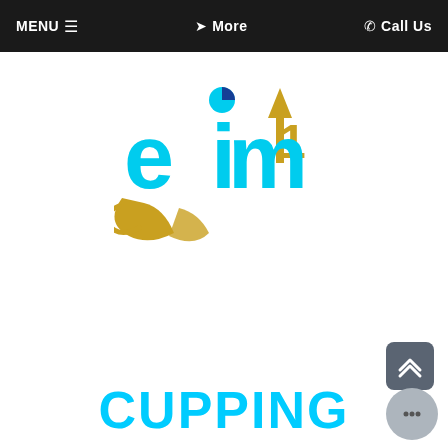MENU  ≡   ❯ More   ☎ Call Us
[Figure (logo): EIM logo with cyan letters 'eim', a pie chart on the letter i, gold hands cradling the letters, and a gold upward arrow with '1' on it]
CUPPING